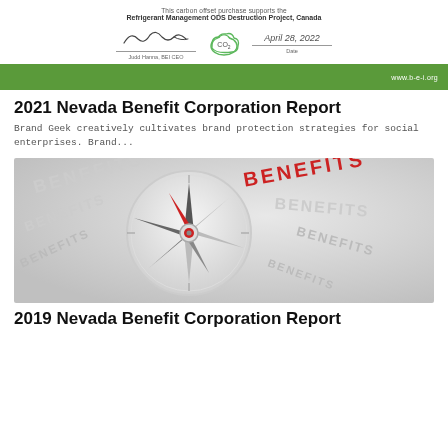This carbon offset purchase supports the Refrigerant Management ODS Destruction Project, Canada
[Figure (illustration): Signature line with handwritten signature, CO2 cloud icon, and date line showing April 28, 2022. Labels: 'Judd Hanna, BEI CEO' and 'Date'.]
[Figure (other): Green banner bar with white text: www.b-e-i.org]
2021 Nevada Benefit Corporation Report
Brand Geek creatively cultivates brand protection strategies for social enterprises. Brand...
[Figure (photo): Compass with word BENEFITS printed around the dial, red needle pointing toward BENEFITS text. Gradient grey background.]
2019 Nevada Benefit Corporation Report